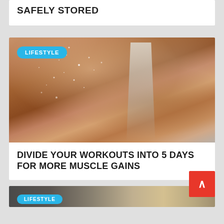SAFELY STORED
[Figure (photo): Close-up of a sweaty muscular back/shoulder with a white sports bra strap, with a LIFESTYLE badge overlay]
DIVIDE YOUR WORKOUTS INTO 5 DAYS FOR MORE MUSCLE GAINS
[Figure (photo): Partial image of watches on dark fabric background, with LIFESTYLE badge at bottom]